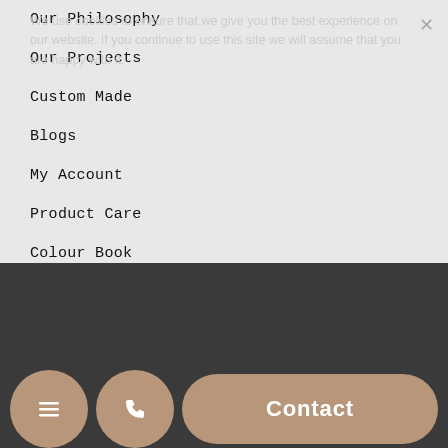Our Philosophy
Our Projects
Custom Made
Blogs
My Account
Product Care
Colour Book
Terms & Conditions
Privacy Policy
Wholesale
International Orders
Delivery Information
We use cookies to ensure that we give you the best experience on our website. If you continue to use this site we will assume that you are happy with it.
Contact
Contact Us